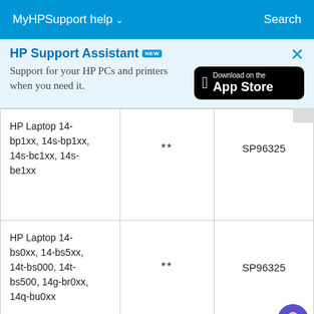MyHPSupport help  Search
HP Support Assistant NEW
Support for your HP PCs and printers when you need it.
[Figure (logo): Download on the App Store button (black rounded rectangle with Apple logo)]
|  |  |  |
| --- | --- | --- |
| HP Laptop 14-bp1xx, 14s-bp1xx, 14s-bc1xx, 14s-be1xx | ** | SP96325 |
| HP Laptop 14-bs0xx, 14-bs5xx, 14t-bs000, 14t-bs500, 14g-br0xx, 14q-bu0xx | ** | SP96325 |